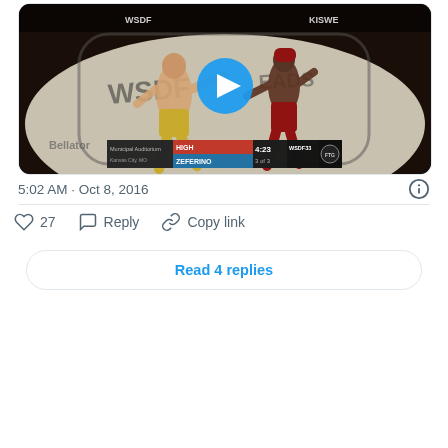[Figure (screenshot): MMA fight video thumbnail showing two fighters in an octagon with a blue play button overlay. Scorebug visible at bottom showing 'Municipal Auditorium', 'HIGH', 'ZEFERINO', '4:23', '3 of 3', 'WSDF33' and fighting logo.]
5:02 AM · Oct 8, 2016
27   Reply   Copy link
Read 4 replies